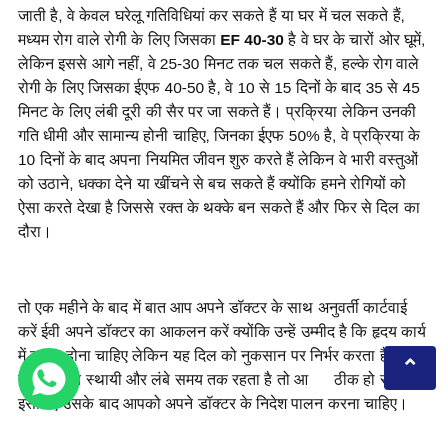जाती है, वे केवल घरेलू गतिविधियां कर सकते हैं या घर में चल सकते हैं, मध्यम रोग वाले रोगी के लिए जिसका EF 40-30 है वे घर के चारों ओर घूमें, लेकिन इससे आगे नहीं, वे 25-30 मिनट तक चल सकते हैं, हल्के रोग वाले रोगी के लिए जिसका ईएफ 40-50 है, वे 10 से 15 दिनों के बाद 35 से 45 मिनट के लिए लंबी दूरी की सैर पर जा सकते हैं। प्रक्रिया लेकिन उनकी गति धीमी और सामान्य होनी चाहिए, जिनका ईएफ 50% है, वे प्रक्रिया के 10 दिनों के बाद अपना नियमित जीवन शुरु करते हैं लेकिन वे भारी वस्तुओं को उठाने, धक्का देने या खींचने से बच सकते हैं क्योंकि हमने रोगियों को ऐसा करते देखा है जिससे रक्त के थक्के बन सकते हैं और फिर से दिल का दौरा।
तो एक महीने के बाद में बात आप अपने डॉक्टर के साथ अनुवर्ती कार्टवाई करें ईवी अपने डॉक्टर का आकलन करें क्योंकि उन्हें उम्मीद है कि हृदय कार्य में सुधार होना चाहिए लेकिन यह दिल को नुकसान पर निर्भर करता है, अगर दिल क सान स्थायी और लंबे समय तक रहता है तो आ ठीक हो सकते हैं, इसलिए उसके बाद आपको अपने डॉक्टर के निदेश पालन करना चाहिए।
[Figure (logo): WhatsApp icon - green circle with white phone/chat symbol]
[Figure (other): Scroll-to-top button - dark blue rectangle with white upward arrow]